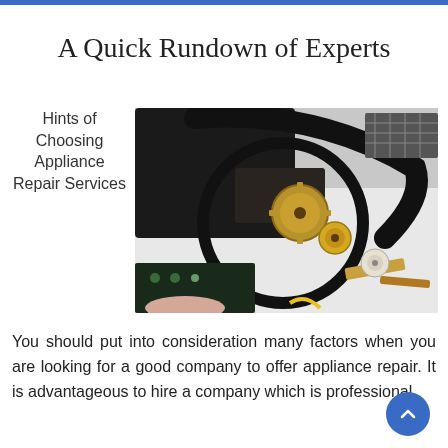A Quick Rundown of Experts
Hints of Choosing Appliance Repair Services
[Figure (photo): Close-up photo of mechanical gears and components of a disassembled device, with a magnifying glass held over the gears, on a white background with various parts scattered around.]
You should put into consideration many factors when you are looking for a good company to offer appliance repair. It is advantageous to hire a company which is professional